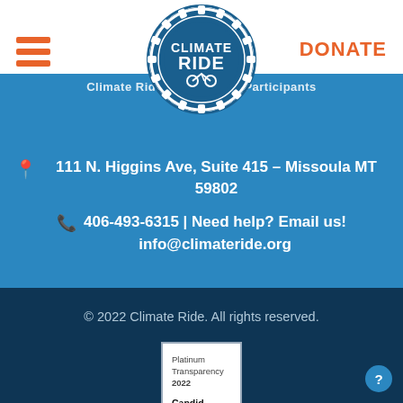DONATE
[Figure (logo): Climate Ride circular gear logo with text CLIMATE RIDE in the center]
111 N. Higgins Ave, Suite 415 – Missoula MT 59802
406-493-6315 | Need help? Email us! info@climateride.org
© 2022 Climate Ride. All rights reserved.
[Figure (other): Platinum Transparency 2022 Candid badge]